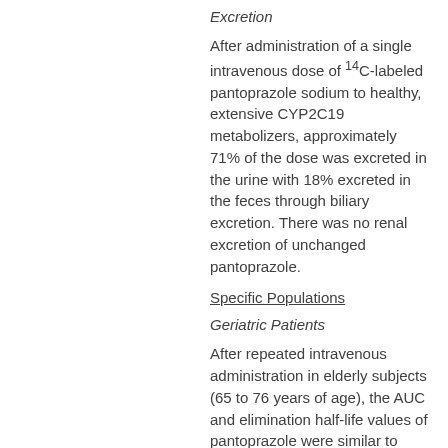Excretion
After administration of a single intravenous dose of 14C-labeled pantoprazole sodium to healthy, extensive CYP2C19 metabolizers, approximately 71% of the dose was excreted in the urine with 18% excreted in the feces through biliary excretion. There was no renal excretion of unchanged pantoprazole.
Specific Populations
Geriatric Patients
After repeated intravenous administration in elderly subjects (65 to 76 years of age), the AUC and elimination half-life values of pantoprazole were similar to those observed in younger subjects.